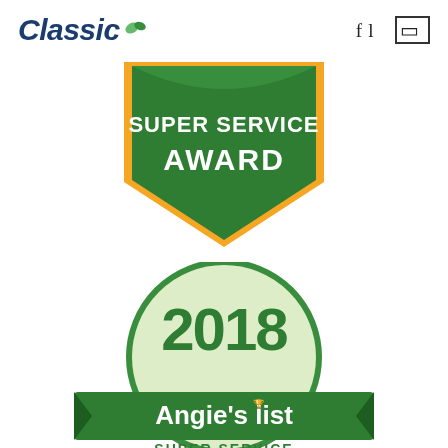[Figure (logo): Classic company logo with green leaves and italic blue text]
[Figure (illustration): Angie's List Super Service Award badge - green and gold shield shape with text SUPER SERVICE AWARD]
[Figure (illustration): Angie's List 2018 Super Service Award circular badge - green circle with 2018 and Angie's list branding]